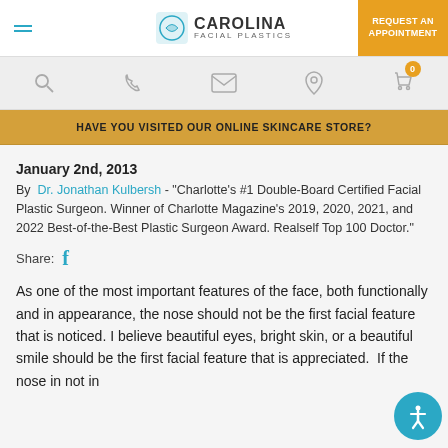Carolina Facial Plastics — Request an Appointment
HAVE YOU VISITED OUR ONLINE SKINCARE STORE?
January 2nd, 2013
By Dr. Jonathan Kulbersh - "Charlotte's #1 Double-Board Certified Facial Plastic Surgeon. Winner of Charlotte Magazine's 2019, 2020, 2021, and 2022 Best-of-the-Best Plastic Surgeon Award. Realself Top 100 Doctor."
Share:
As one of the most important features of the face, both functionally and in appearance, the nose should not be the first facial feature that is noticed. I believe beautiful eyes, bright skin, or a beautiful smile should be the first facial feature that is appreciated.  If the nose in not in